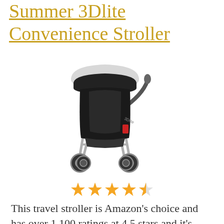Summer 3Dlite Convenience Stroller
[Figure (photo): Photo of a Summer 3Dlite black and silver baby stroller with canopy, reclinable seat, and four wheels]
★★★★½
This travel stroller is Amazon's choice and has over 1,100 ratings at 4.5 stars and it's